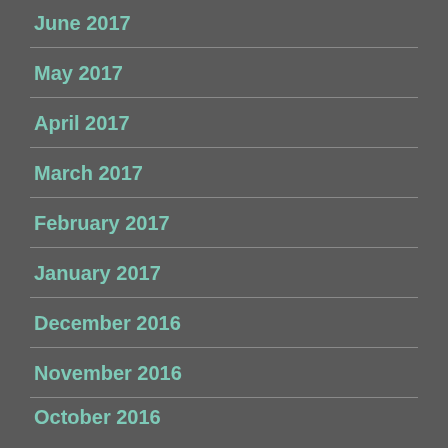June 2017
May 2017
April 2017
March 2017
February 2017
January 2017
December 2016
November 2016
October 2016